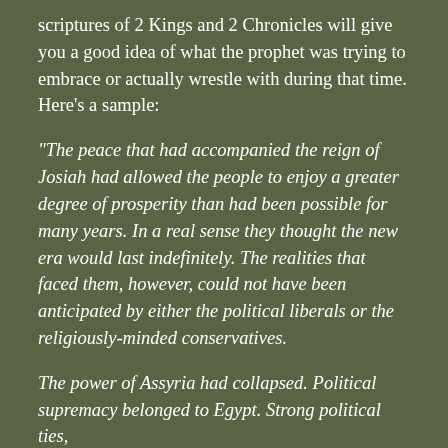scriptures of 2 Kings and 2 Chronicles will give you a good idea of what the prophet was trying to embrace or actually wrestle with during that time. Here's a sample:
“The peace that had accompanied the reign of Josiah had allowed the people to enjoy a greater degree of prosperity than had been possible for many years. In a real sense they thought the new era would last indefinitely. The realities that faced them, however, could not have been anticipated by either the political liberals or the religiously-minded conservatives.
The power of Assyria had collapsed. Political supremacy belonged to Egypt. Strong political ties,